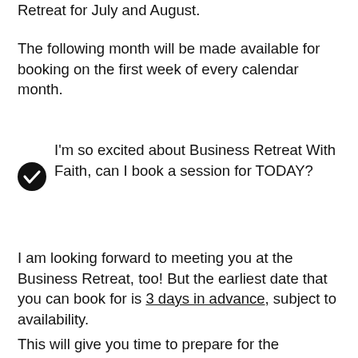Retreat for July and August.
The following month will be made available for booking on the first week of every calendar month.
I'm so excited about Business Retreat With Faith, can I book a session for TODAY?
I am looking forward to meeting you at the Business Retreat, too! But the earliest date that you can book for is 3 days in advance, subject to availability.
This will give you time to prepare for the